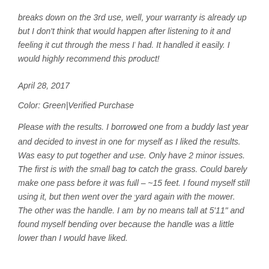breaks down on the 3rd use, well, your warranty is already up but I don't think that would happen after listening to it and feeling it cut through the mess I had. It handled it easily. I would highly recommend this product!
April 28, 2017
Color: Green|Verified Purchase
Please with the results. I borrowed one from a buddy last year and decided to invest in one for myself as I liked the results. Was easy to put together and use. Only have 2 minor issues. The first is with the small bag to catch the grass. Could barely make one pass before it was full – ~15 feet. I found myself still using it, but then went over the yard again with the mower. The other was the handle. I am by no means tall at 5'11" and found myself bending over because the handle was a little lower than I would have liked.